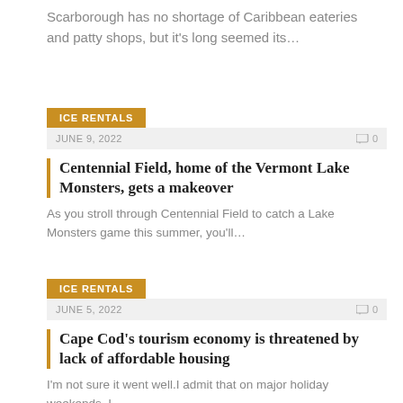Scarborough has no shortage of Caribbean eateries and patty shops, but it's long seemed its…
ICE RENTALS
JUNE 9, 2022   0
Centennial Field, home of the Vermont Lake Monsters, gets a makeover
As you stroll through Centennial Field to catch a Lake Monsters game this summer, you'll…
ICE RENTALS
JUNE 5, 2022   0
Cape Cod's tourism economy is threatened by lack of affordable housing
I'm not sure it went well.I admit that on major holiday weekends, I